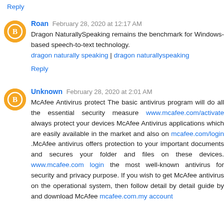Reply
Roan  February 28, 2020 at 12:17 AM
Dragon NaturallySpeaking remains the benchmark for Windows-based speech-to-text technology.
dragon naturally speaking | dragon naturallyspeaking
Reply
Unknown  February 28, 2020 at 2:01 AM
McAfee Antivirus protect The basic antivirus program will do all the essential security measure www.mcafee.com/activate always protect your devices McAfee Antivirus applications which are easily available in the market and also on mcafee.com/login .McAfee antivirus offers protection to your important documents and secures your folder and files on these devices. www.mcafee.com login the most well-known antivirus for security and privacy purpose. If you wish to get McAfee antivirus on the operational system, then follow detail by detail guide by and download McAfee mcafee.com.my account